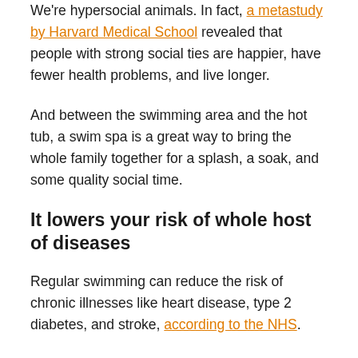We're hypersocial animals. In fact, a metastudy by Harvard Medical School revealed that people with strong social ties are happier, have fewer health problems, and live longer.
And between the swimming area and the hot tub, a swim spa is a great way to bring the whole family together for a splash, a soak, and some quality social time.
It lowers your risk of whole host of diseases
Regular swimming can reduce the risk of chronic illnesses like heart disease, type 2 diabetes, and stroke, according to the NHS.